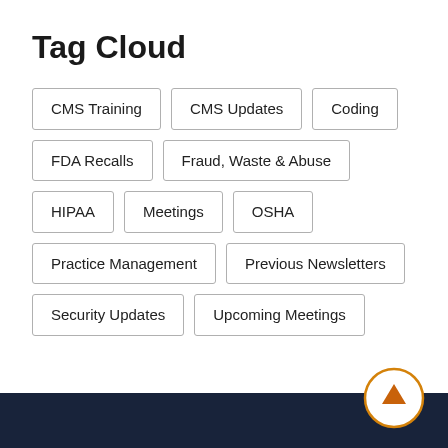Tag Cloud
CMS Training
CMS Updates
Coding
FDA Recalls
Fraud, Waste & Abuse
HIPAA
Meetings
OSHA
Practice Management
Previous Newsletters
Security Updates
Upcoming Meetings